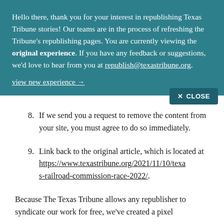Hello there, thank you for your interest in republishing Texas Tribune stories! Our teams are in the process of refreshing the Tribune's republishing pages. You are currently viewing the original experience. If you have any feedback or suggestions, we'd love to hear from you at republish@texastribune.org.
view new experience →
8. If we send you a request to remove the content from your site, you must agree to do so immediately.
9. Link back to the original article, which is located at https://www.texastribune.org/2021/11/10/texas-railroad-commission-race-2022/.
Because The Texas Tribune allows any republisher to syndicate our work for free, we've created a pixel